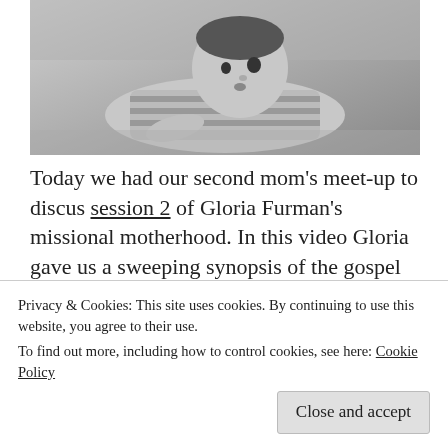[Figure (photo): Black and white photo of a baby in striped clothing lying on a carpet, looking upward]
Today we had our second mom's meet-up to discus session 2 of Gloria Furman's missional motherhood. In this video Gloria gave us a sweeping synopsis of the gospel story
Privacy & Cookies: This site uses cookies. By continuing to use this website, you agree to their use.
To find out more, including how to control cookies, see here: Cookie Policy
Close and accept